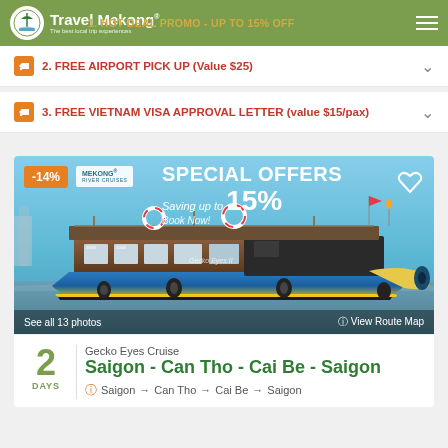Travel Mekong | 1. HOT DEAL PROMO - UP TO 15% OFF
2. FREE AIRPORT PICK UP (Value $25)
3. FREE VIETNAM VISA APPROVAL LETTER (value $15/pax)
[Figure (photo): Gecko Eyes Cruise boat on Mekong River with special offers banner showing -14% and saving up to 15%]
See all 13 photos | View Route Map
Gecko Eyes Cruise
Saigon - Can Tho - Cai Be - Saigon
2 DAYS
Saigon → Can Tho → Cai Be → Saigon